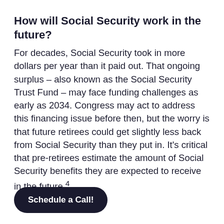How will Social Security work in the future?
For decades, Social Security took in more dollars per year than it paid out. That ongoing surplus – also known as the Social Security Trust Fund – may face funding challenges as early as 2034. Congress may act to address this financing issue before then, but the worry is that future retirees could get slightly less back from Social Security than they put in. It’s critical that pre-retirees estimate the amount of Social Security benefits they are expected to receive in the future.⁴